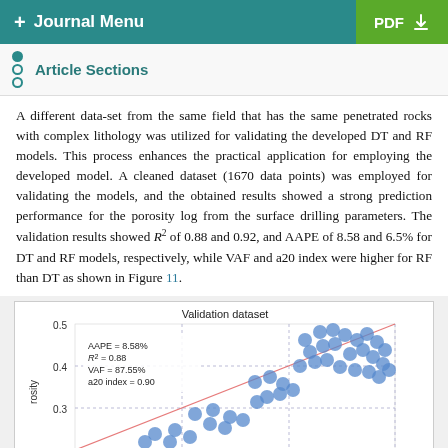+ Journal Menu | PDF
Article Sections
A different data-set from the same field that has the same penetrated rocks with complex lithology was utilized for validating the developed DT and RF models. This process enhances the practical application for employing the developed model. A cleaned dataset (1670 data points) was employed for validating the models, and the obtained results showed a strong prediction performance for the porosity log from the surface drilling parameters. The validation results showed R² of 0.88 and 0.92, and AAPE of 8.58 and 6.5% for DT and RF models, respectively, while VAF and a20 index were higher for RF than DT as shown in Figure 11.
[Figure (scatter-plot): Scatter plot of predicted vs actual porosity for validation dataset. Shows AAPE = 8.58%, R² = 0.88, VAF = 87.55%, a20 index = 0.90. Blue circular markers clustered along diagonal reference line. Y-axis labeled 'porosity', values from 0.3 to 0.5 visible.]